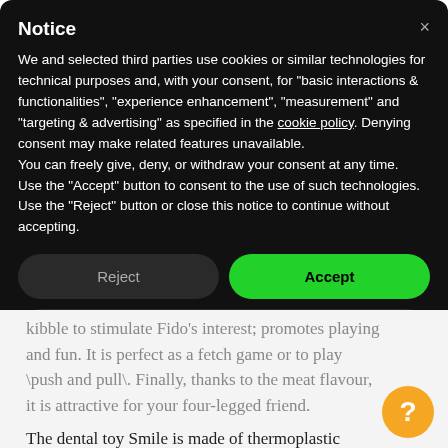Notice
We and selected third parties use cookies or similar technologies for technical purposes and, with your consent, for "basic interactions & functionalities", "experience enhancement", "measurement" and "targeting & advertising" as specified in the cookie policy. Denying consent may make related features unavailable.
You can freely give, deny, or withdraw your consent at any time.
Use the "Accept" button to consent to the use of such technologies. Use the "Reject" button or close this notice to continue without accepting.
Reject
Accept
Learn more and customize
kibble to stimulate Fido's interest; promotes playing and fun. It is perfect as a fetch game or to play \push and pull\. Finally, thanks to the meat flavour, it is attractive for your four-legged friend.
The dental toy Smile is made of thermoplastic rubber, durable and non-toxic material, safe for your